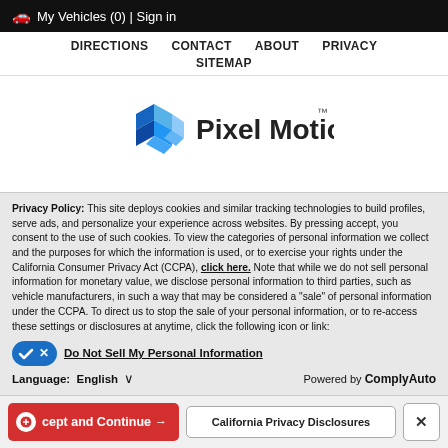🚗 My Vehicles (0) | Sign in
DIRECTIONS  CONTACT  ABOUT  PRIVACY  SITEMAP
[Figure (logo): Pixel Motion logo with blue 3D cube/diamond shapes and text 'Pixel Motion™']
Privacy Policy: This site deploys cookies and similar tracking technologies to build profiles, serve ads, and personalize your experience across websites. By pressing accept, you consent to the use of such cookies. To view the categories of personal information we collect and the purposes for which the information is used, or to exercise your rights under the California Consumer Privacy Act (CCPA), click here. Note that while we do not sell personal information for monetary value, we disclose personal information to third parties, such as vehicle manufacturers, in such a way that may be considered a "sale" of personal information under the CCPA. To direct us to stop the sale of your personal information, or to re-access these settings or disclosures at anytime, click the following icon or link:
Do Not Sell My Personal Information
Language: English  Powered by ComplyAuto
Accept and Continue →  California Privacy Disclosures  ×